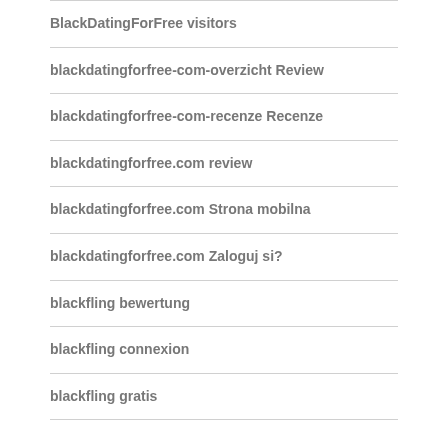BlackDatingForFree visitors
blackdatingforfree-com-overzicht Review
blackdatingforfree-com-recenze Recenze
blackdatingforfree.com review
blackdatingforfree.com Strona mobilna
blackdatingforfree.com Zaloguj si?
blackfling bewertung
blackfling connexion
blackfling gratis